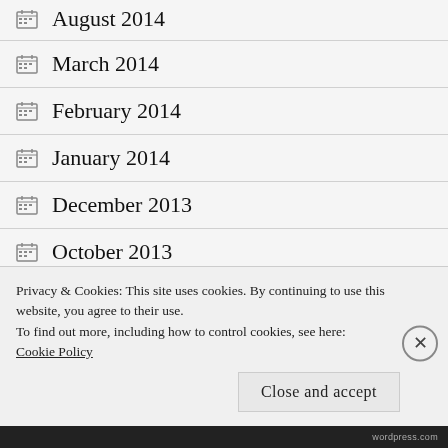August 2014
March 2014
February 2014
January 2014
December 2013
October 2013
September 2013
Privacy & Cookies: This site uses cookies. By continuing to use this website, you agree to their use.
To find out more, including how to control cookies, see here: Cookie Policy
wordpress.com